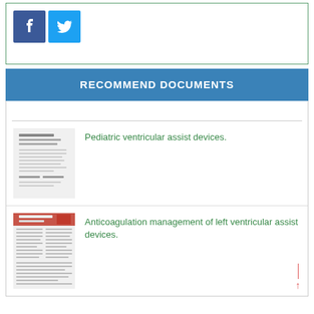[Figure (logo): Facebook and Twitter social sharing buttons]
RECOMMEND DOCUMENTS
[Figure (photo): Thumbnail of document: Pediatric ventricular assist devices]
Pediatric ventricular assist devices.
[Figure (photo): Thumbnail of document: Anticoagulation management of left ventricular assist devices]
Anticoagulation management of left ventricular assist devices.